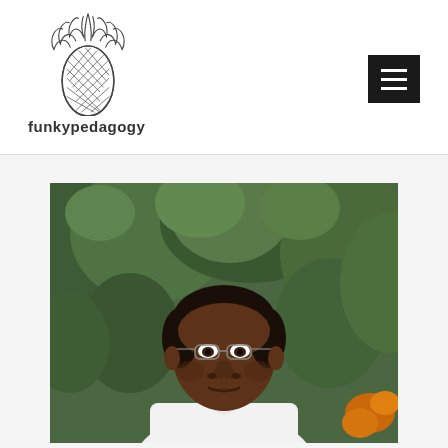[Figure (logo): Pineapple line drawing logo for funkypedagogy website]
funkypedagogy
[Figure (photo): Portrait photo of a man with glasses wearing a white shirt, outdoors with green foliage in background]